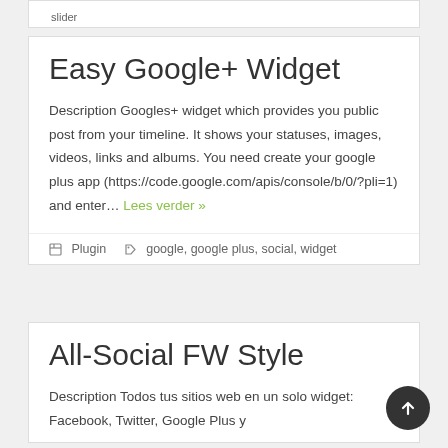slider
Easy Google+ Widget
Description Googles+ widget which provides you public post from your timeline. It shows your statuses, images, videos, links and albums. You need create your google plus app (https://code.google.com/apis/console/b/0/?pli=1) and enter... Lees verder »
Plugin  google, google plus, social, widget
All-Social FW Style
Description Todos tus sitios web en un solo widget: Facebook, Twitter, Google Plus y